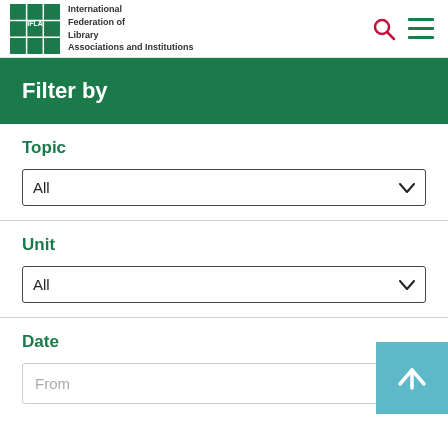International Federation of Library Associations and Institutions
Filter by
Topic
All
Unit
All
Date
From